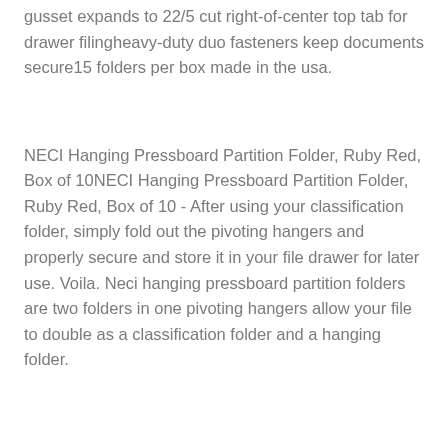gusset expands to 22/5 cut right-of-center top tab for drawer filingheavy-duty duo fasteners keep documents secure15 folders per box made in the usa.
NECI Hanging Pressboard Partition Folder, Ruby Red, Box of 10NECI Hanging Pressboard Partition Folder, Ruby Red, Box of 10 - After using your classification folder, simply fold out the pivoting hangers and properly secure and store it in your file drawer for later use. Voila. Neci hanging pressboard partition folders are two folders in one pivoting hangers allow your file to double as a classification folder and a hanging folder.